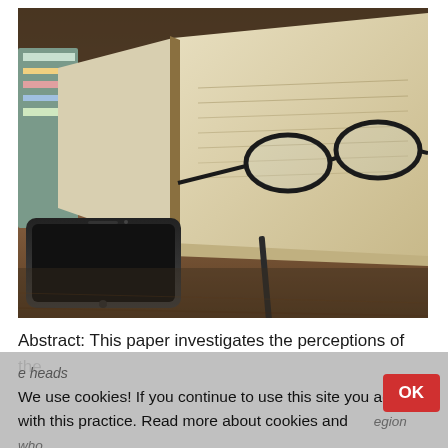[Figure (photo): Photo of an open book with reading glasses resting on pages, a smartphone and a pen on a wooden desk surface]
Abstract: This paper investigates the perceptions of the
We use cookies! If you continue to use this site you agree with this practice. Read more about cookies and how to delete them in our privacy policy.
heads ... North Finland, Europe and Paulo region who consented to participate in this study had either been